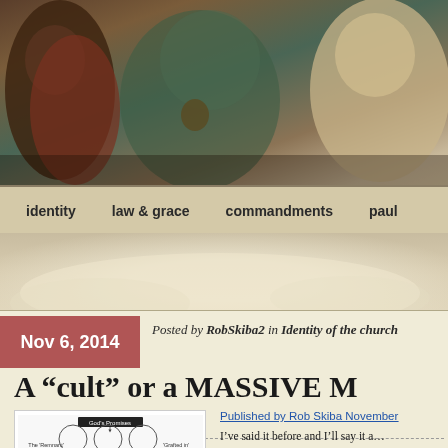[Figure (illustration): Cropped painting of robed biblical figures, muted tones of brown, green, and cream — banner/header image for a religious blog.]
identity   law & grace   commandments   paul
[Figure (illustration): Decorative parchment/landscape textured band, light tan and cream tones with soft cloud-like shapes.]
Nov 6, 2014
Posted by RobSkiba2 in Identity of the church
A “cult” or a MASSIVE M... YHWH?
Published by Rob Skiba November
[Figure (illustration): Diagram with overlapping circles and text including 'God's Promises', 'The Remnant', and 'Grafted in'.]
I’ve said it before and I’ll say it a...